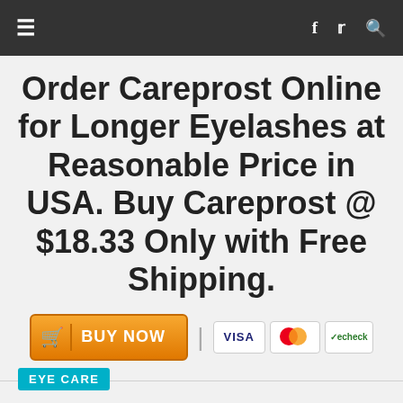≡  f  🐦  🔍
Order Careprost Online for Longer Eyelashes at Reasonable Price in USA. Buy Careprost @ $18.33 Only with Free Shipping.
[Figure (other): Orange BUY NOW button with shopping cart icon and vertical divider, followed by pipe separator and payment icons: VISA, Mastercard, echeck]
EYE CARE